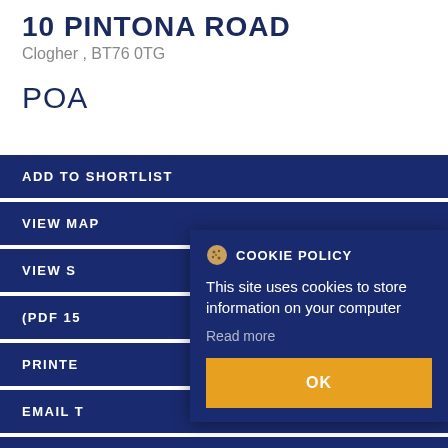10 PINTONA ROAD
Clogher , BT76 0TG
POA
ADD TO SHORTLIST
VIEW MAP
VIEW S...
(PDF 15...
PRINTE...
EMAIL T...
MAKE ENQUIRY
COOKIE POLICY
This site uses cookies to store information on your computer
Read more
OK